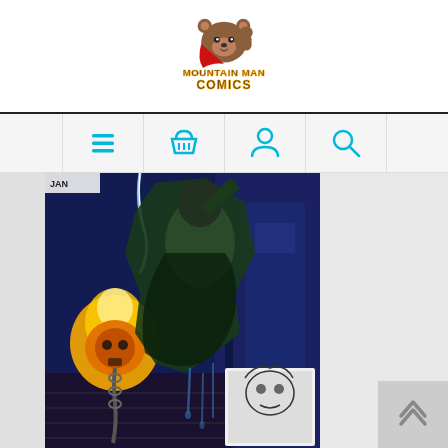[Figure (logo): Mountain Man Comics logo: a brown bear with a red cape, yellow bold text 'MOUNTAIN MAN COMICS' below]
[Figure (screenshot): Navigation bar with four cyan icons: hamburger menu, shopping basket, user/person, and magnifying glass search]
[Figure (photo): Comic book cover showing a dark superhero/monster character leaping in a dark blue industrial setting with a flaming skull chain weapon glowing orange and yellow. A small black-and-white inset image of a skull in the lower right corner.]